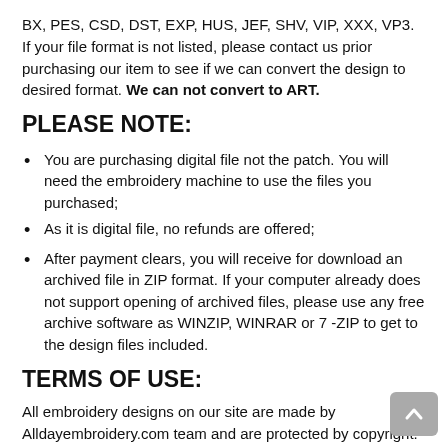BX, PES, CSD, DST, EXP, HUS, JEF, SHV, VIP, XXX, VP3. If your file format is not listed, please contact us prior purchasing our item to see if we can convert the design to desired format. We can not convert to ART.
PLEASE NOTE:
You are purchasing digital file not the patch. You will need the embroidery machine to use the files you purchased;
As it is digital file, no refunds are offered;
After payment clears, you will receive for download an archived file in ZIP format. If your computer already does not support opening of archived files, please use any free archive software as WINZIP, WINRAR or 7 -ZIP to get to the design files included.
TERMS OF USE:
All embroidery designs on our site are made by Alldayembroidery.com team and are protected by copyright. *You MAY embroider design on finished item and use it for